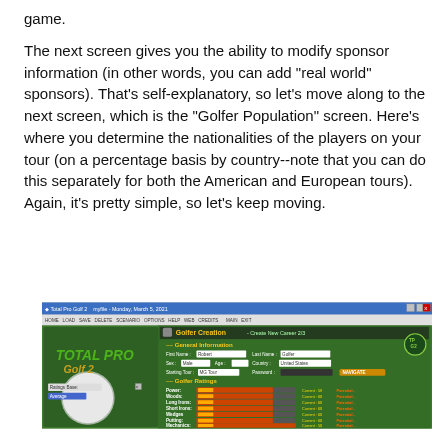game.
The next screen gives you the ability to modify sponsor information (in other words, you can add "real world" sponsors). That's self-explanatory, so let's move along to the next screen, which is the "Golfer Population" screen. Here's where you determine the nationalities of the players on your tour (on a percentage basis by country--note that you can do this separately for both the American and European tours). Again, it's pretty simple, so let's keep moving.
[Figure (screenshot): Screenshot of Total Pro Golf 2 game interface showing the Golfer Creation screen with General Information fields (First Name, Last Name, Sex, Age, Country, Starting Tour, Password) and Golfer Ratings section showing sliders for Power, Woods, Long Irons, Short Irons, Wedges, Putting, Mechanics, Recovery, Mental with Current and Potential values.]